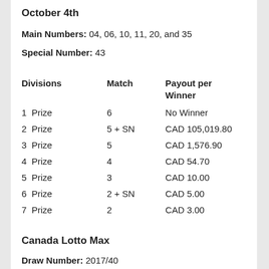October 4th
Main Numbers: 04, 06, 10, 11, 20, and 35
Special Number: 43
| Divisions | Match | Payout per Winner |
| --- | --- | --- |
| 1  Prize | 6 | No Winner |
| 2  Prize | 5 + SN | CAD 105,019.80 |
| 3  Prize | 5 | CAD 1,576.90 |
| 4  Prize | 4 | CAD 54.70 |
| 5  Prize | 3 | CAD 10.00 |
| 6  Prize | 2 + SN | CAD 5.00 |
| 7  Prize | 2 | CAD 3.00 |
Canada Lotto Max
Draw Number: 2017/40
October 6th